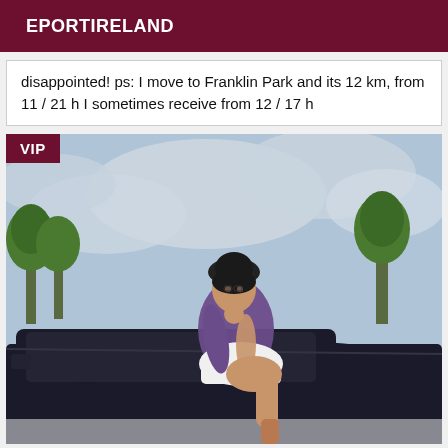EPORTIRELAND
disappointed! ps: I move to Franklin Park and its 12 km, from 11 / 21 h I sometimes receive from 12 / 17 h
[Figure (photo): A person wearing a dark hat and purple blouse sitting on the hood of a dark car in a parking lot with trees and cloudy sky in the background. A VIP badge is shown in the top-left corner of the image.]